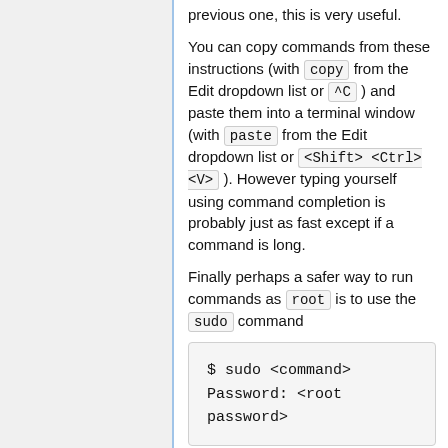previous one, this is very useful.
You can copy commands from these instructions (with copy from the Edit dropdown list or ^C ) and paste them into a terminal window (with paste from the Edit dropdown list or <Shift> <Ctrl> <V> ). However typing yourself using command completion is probably just as fast except if a command is long.
Finally perhaps a safer way to run commands as root is to use the sudo command
$ sudo <command>
Password: <root password>
After you enter the command the